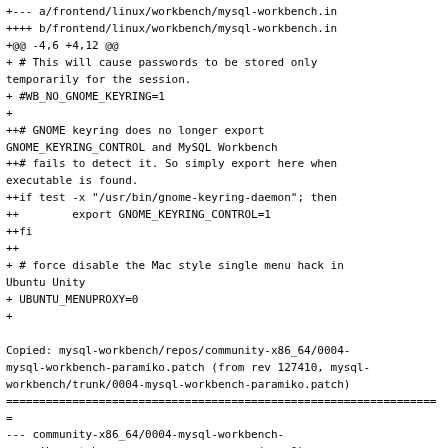+--- a/frontend/linux/workbench/mysql-workbench.in
++++ b/frontend/linux/workbench/mysql-workbench.in
+@@ -4,6 +4,12 @@
+ # This will cause passwords to be stored only temporarily for the session.
+ #WB_NO_GNOME_KEYRING=1
+
++# GNOME keyring does no longer export GNOME_KEYRING_CONTROL and MySQL Workbench
++# fails to detect it. So simply export here when executable is found.
++if test -x "/usr/bin/gnome-keyring-daemon"; then
++        export GNOME_KEYRING_CONTROL=1
++fi
++
+ # force disable the Mac style single menu hack in Ubuntu Unity
+ UBUNTU_MENUPROXY=0
+

Copied: mysql-workbench/repos/community-x86_64/0004-mysql-workbench-paramiko.patch (from rev 127410, mysql-workbench/trunk/0004-mysql-workbench-paramiko.patch)
==================================================================
--- community-x86_64/0004-mysql-workbench-paramiko.patch                        (rev 0)
+++ community-x86_64/0004-mysql-workbench-paramiko.patch  2015-02-09 16:14:51 UTC (rev 127411)
@@ -0,0 +1,23 @@
+diff --git a/plugins/wb.admin/backend/wb admin ssh.py